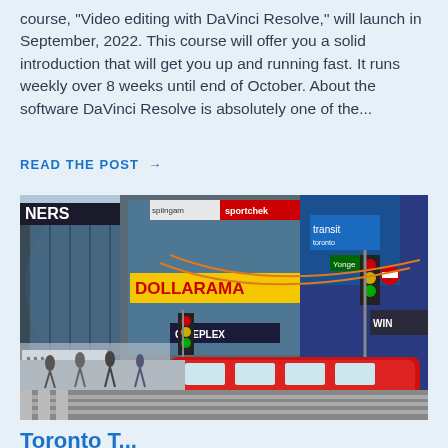course, 'Video editing with DaVinci Resolve,' will launch in September, 2022. This course will offer you a solid introduction that will get you up and running fast. It runs weekly over 8 weeks until end of October. About the software DaVinci Resolve is absolutely one of the...
READ THE POST →
[Figure (photo): Street-level photo of a busy urban intersection, showing a modern red and white streetcar/tram in the foreground. Buildings visible include a Dollarama store, a Cineplex cinema, an Adidas store, and a Winners store. There are traffic lights, pedestrians, and a Yonge Street sign visible. The setting appears to be downtown Toronto.]
Toronto T...